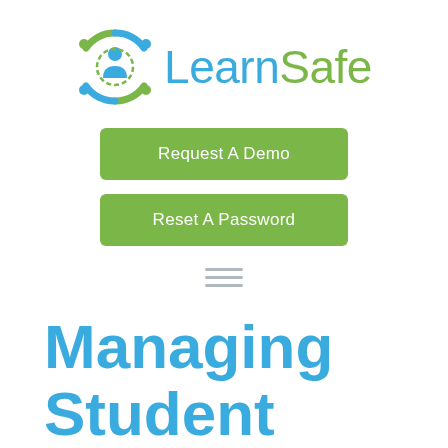[Figure (logo): LearnSafe logo with circular icon featuring a person silhouette with gear/shield elements in blue and green, and the text LearnSafe where Learn is blue and Safe is green]
Request A Demo
Reset A Password
[Figure (other): Hamburger menu icon with three horizontal gray lines]
Managing Student